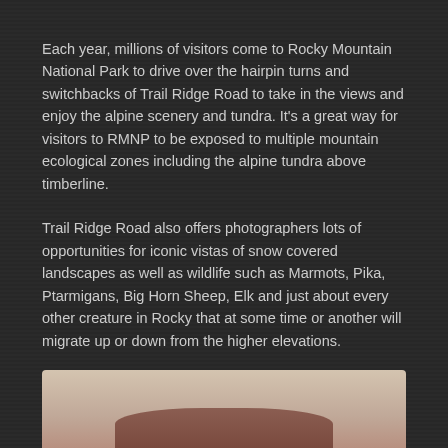Each year, millions of visitors come to Rocky Mountain National Park to drive over the hairpin turns and switchbacks of Trail Ridge Road to take in the views and enjoy the alpine scenery and tundra. It's a great way for visitors to RMNP to be exposed to multiple mountain ecological zones including the alpine tundra above timberline.
Trail Ridge Road also offers photographers lots of opportunities for iconic vistas of snow covered landscapes as well as wildlife such as Marmots, Pika, Ptarmigans, Big Horn Sheep, Elk and just about every other creature in Rocky that at some time or another will migrate up or down from the higher elevations.
To date, I had not made my ‘seasonal’ first migration over Trail Ridge Road but when I awoke this morning to rain falling, it seemed like a perfect time to head on up and see what opportunities for photography might exist.
[Figure (photo): Partial view of a photograph showing what appears to be a wildlife or nature scene, with warm tan/beige tones and a dark reddish-brown shape visible at the bottom of the frame.]